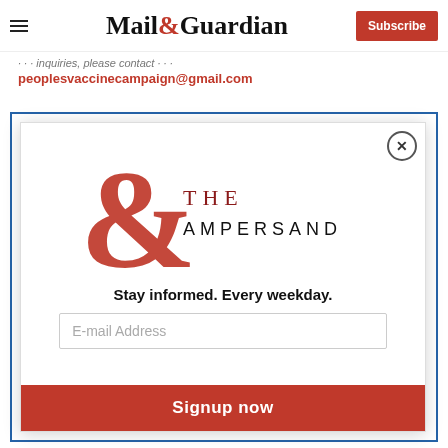Mail&Guardian — Subscribe
For inquiries, please contact
peoplesvaccinecampaign@gmail.com
[Figure (screenshot): Mail & Guardian newsletter signup modal overlay with 'THE AMPERSAND' logo, tagline 'Stay informed. Every weekday.', email input field, and red 'Signup now' button. A blue-bordered outer frame and a close (X) button are visible.]